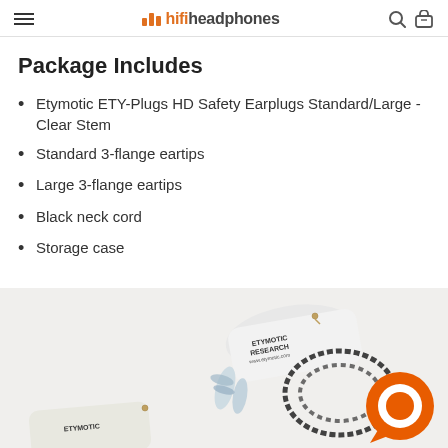hifiheadphones
Package Includes
Etymotic ETY-Plugs HD Safety Earplugs Standard/Large - Clear Stem
Standard 3-flange eartips
Large 3-flange eartips
Black neck cord
Storage case
[Figure (photo): Product photo showing Etymotic Research earplugs with black neck cord and white storage cases labeled ETYMOTIC RESEARCH www.etymotic.com, with an orange chat bubble icon overlay]